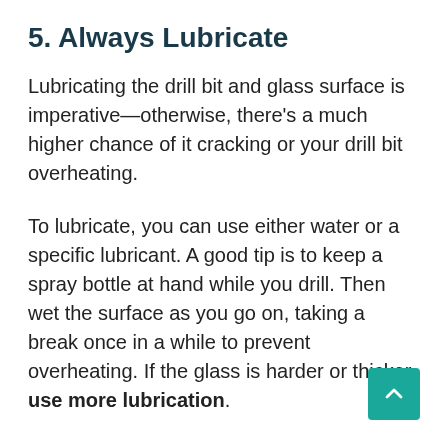5. Always Lubricate
Lubricating the drill bit and glass surface is imperative—otherwise, there's a much higher chance of it cracking or your drill bit overheating.
To lubricate, you can use either water or a specific lubricant. A good tip is to keep a spray bottle at hand while you drill. Then wet the surface as you go on, taking a break once in a while to prevent overheating. If the glass is harder or thicker, use more lubrication.